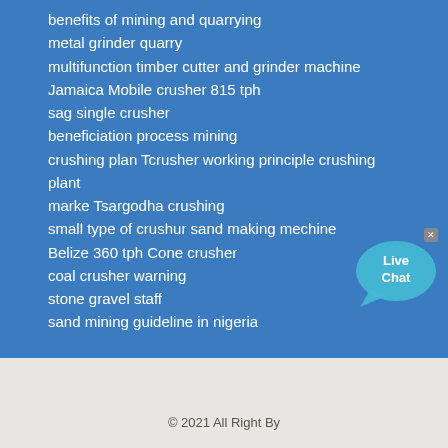benefits of mining and quarrying
metal grinder quarry
multifunction timber cutter and grinder machine
Jamaica Mobile crusher 815 tph
sag single crusher
beneficiation process mining
crushing plan Tcrusher working principle crushing plant
marke Tsargodha crushing
small type of crushur sand making mechine
Belize 360 tph Cone crusher
coal crusher warning
stone gravel staff
sand mining guideline in nigeria
[Figure (infographic): Live Chat button with speech bubble icon in cyan/blue colors with an X close button]
© 2021 All Right By